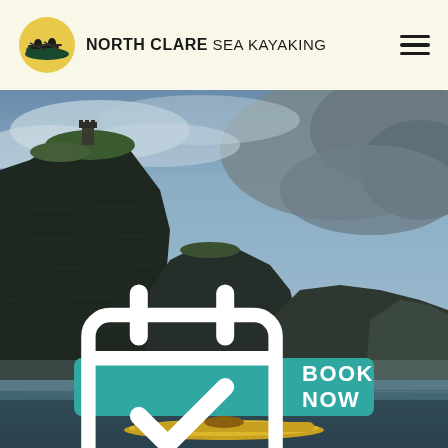[Figure (logo): North Clare Sea Kayaking circular logo with kayakers on water against a yellow sun background]
NORTH CLARE SEA KAYAKING
[Figure (photo): Panoramic photograph of the Cliffs of Moher viewed from the sea, showing dramatic dark layered rock cliffs with a tower on top, stormy grey-blue sky, and a yellow kayak in the foreground on the water]
BOOK NOW